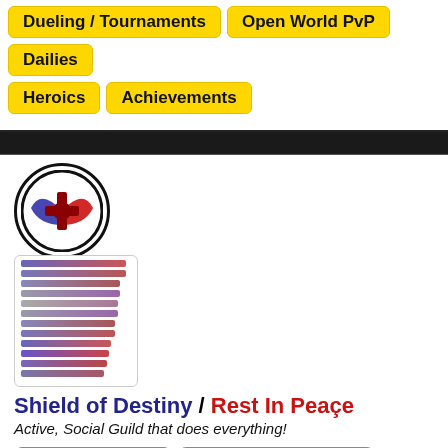Dueling / Tournaments
Open World PvP
Dailies
Heroics
Achievements
[Figure (logo): Shield of Destiny guild logo: circular emblem with blue and red phoenix/jedi symbol on white background, with stacked gradient colored horizontal bars below]
Shield of Destiny / Rest In Peaçe
Active, Social Guild that does everything!
Server: Darth Malgus
Last updated April 19, 2020
PST,EST,GMT,CET,AUST